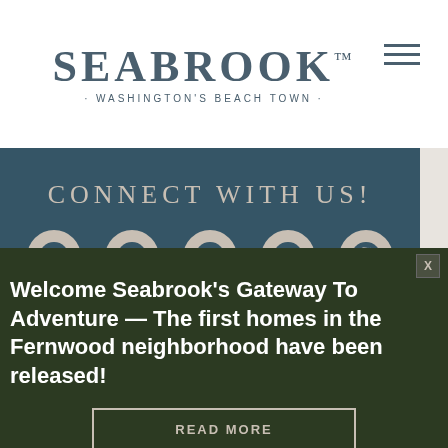[Figure (logo): Seabrook logo with text 'SEABROOK · WASHINGTON'S BEACH TOWN ·' and hamburger menu icon]
CONNECT WITH US!
[Figure (infographic): Social media icons row: Facebook, YouTube, Instagram, TikTok, Pinterest — circular beige icons on teal background]
Careers
Contact
Blog
Welcome Seabrook's Gateway To Adventure — The first homes in the Fernwood neighborhood have been released!
READ MORE